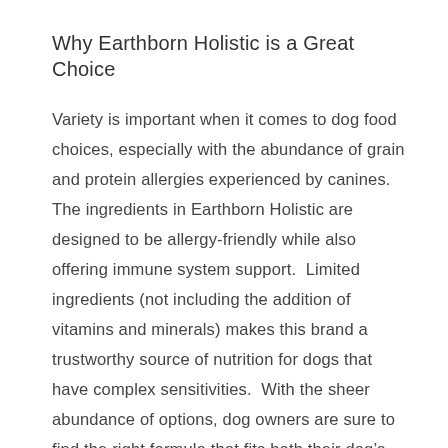Why Earthborn Holistic is a Great Choice
Variety is important when it comes to dog food choices, especially with the abundance of grain and protein allergies experienced by canines.  The ingredients in Earthborn Holistic are designed to be allergy-friendly while also offering immune system support.  Limited ingredients (not including the addition of vitamins and minerals) makes this brand a trustworthy source of nutrition for dogs that have complex sensitivities.  With the sheer abundance of options, dog owners are sure to find the right formula that fits both their dog’s needs, and their